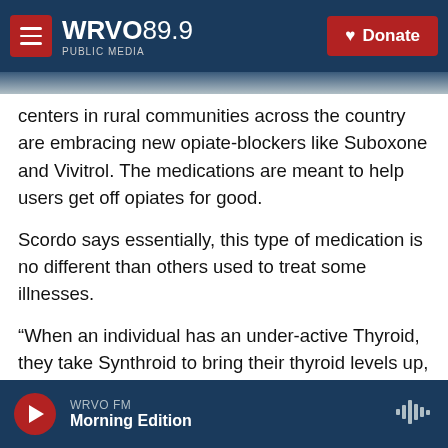WRVO PUBLIC MEDIA 89.9 | Donate
centers in rural communities across the country are embracing new opiate-blockers like Suboxone and Vivitrol. The medications are meant to help users get off opiates for good.
Scordo says essentially, this type of medication is no different than others used to treat some illnesses.
“When an individual has an under-active Thyroid, they take Synthroid to bring their thyroid levels up, if they are diabetic, they take insulin to bring their sugar levels up.”
WRVO FM | Morning Edition